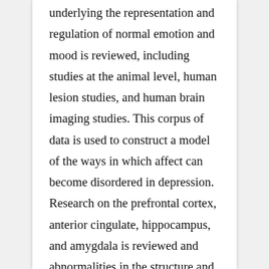underlying the representation and regulation of normal emotion and mood is reviewed, including studies at the animal level, human lesion studies, and human brain imaging studies. This corpus of data is used to construct a model of the ways in which affect can become disordered in depression. Research on the prefrontal cortex, anterior cingulate, hippocampus, and amygdala is reviewed and abnormalities in the structure and function of these different regions in depression is considered. The review concludes with proposals for the specific types of processing abnormalities that result from dysfunctions in different